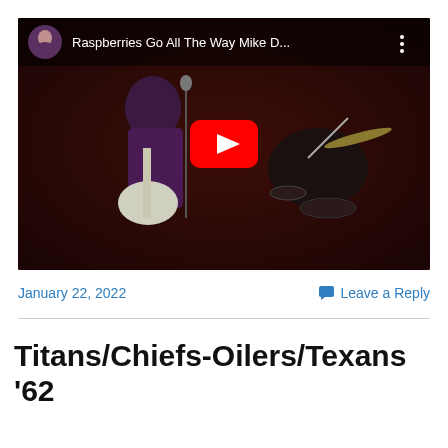[Figure (screenshot): YouTube video thumbnail showing a band performing live on stage. The video title reads 'Raspberries Go All The Way Mike D...' with a YouTube play button overlay. A musician in a purple outfit plays guitar on the left, a drummer is visible on the right.]
January 22, 2022
Leave a Reply
Titans/Chiefs-Oilers/Texans '62